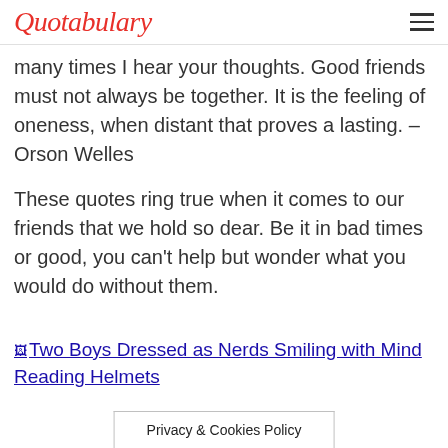Quotabulary
many times I hear your thoughts. Good friends must not always be together. It is the feeling of oneness, when distant that proves a lasting. – Orson Welles
These quotes ring true when it comes to our friends that we hold so dear. Be it in bad times or good, you can't help but wonder what you would do without them.
[Figure (photo): Broken image placeholder link: Two Boys Dressed as Nerds Smiling with Mind Reading Helmets]
Privacy & Cookies Policy